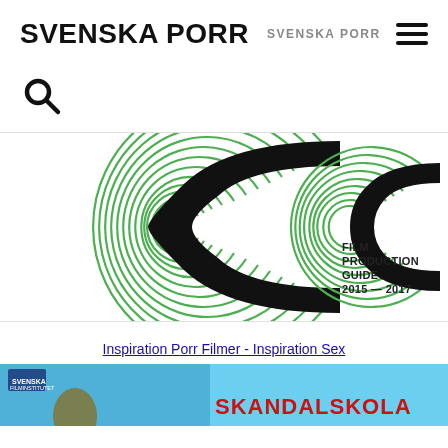SVENSKA PORR   SVENSKA PORR
[Figure (other): Search icon (magnifying glass)]
[Figure (illustration): Film Production Guide 2015-2017 logo/cover with two large stylized 'C' letterforms in black and green concentric arc lines, with text: FILM PRODUCTION GUIDE 2015 — 2017]
Inspiration Porr Filmer - Inspiration Sex
[Figure (screenshot): Bottom strip showing a blue/cyan colored image strip with text SKANDALSKOLAN partially visible]